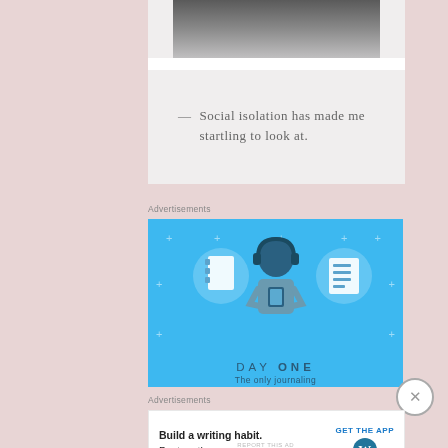[Figure (photo): Partial photo of a person's lower body in dark pants against a light background, shown at top of quote card]
— Social isolation has made me startling to look at.
Advertisements
[Figure (illustration): Day One journaling app advertisement with blue background, showing a person with headphones holding a phone, flanked by two notebook icons in circles, with text 'DAY ONE' and 'The only journaling' at the bottom]
Advertisements
[Figure (screenshot): WordPress app advertisement: 'Build a writing habit. Post on the go.' with GET THE APP button and WordPress logo]